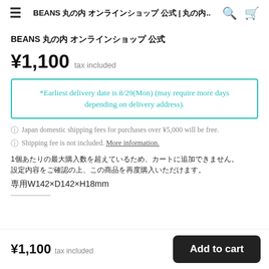BEANS 丸の内 オンラインショップ 公式 | 丸の内..
BEANS 丸の内 オンラインショップ 公式
¥1,100  tax included
*Earliest delivery date is 8/29(Mon) (may require more days depending on delivery address).
Japan domestic shipping fees for purchases over ¥5,000 will be free.
Shipping fee is not included. More information.
1個あたりの最大購入数を超えているため、カートに追加できません。
サイズW142×D142×H18mm
¥1,100  tax included
Add to cart